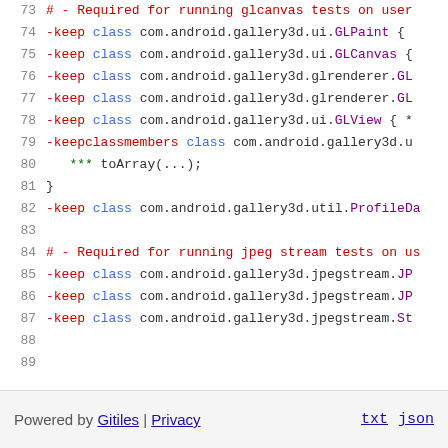73  # - Required for running glcanvas tests on user
74  -keep class com.android.gallery3d.ui.GLPaint {
75  -keep class com.android.gallery3d.ui.GLCanvas {
76  -keep class com.android.gallery3d.glrenderer.GL
77  -keep class com.android.gallery3d.glrenderer.GL
78  -keep class com.android.gallery3d.ui.GLView { *
79  -keepclassmembers class com.android.gallery3d.u
80      *** toArray(...);
81  }
82  -keep class com.android.gallery3d.util.ProfileDa
83
84  # - Required for running jpeg stream tests on us
85  -keep class com.android.gallery3d.jpegstream.JP
86  -keep class com.android.gallery3d.jpegstream.JP
87  -keep class com.android.gallery3d.jpegstream.St
88
89
Powered by Gitiles | Privacy    txt  json